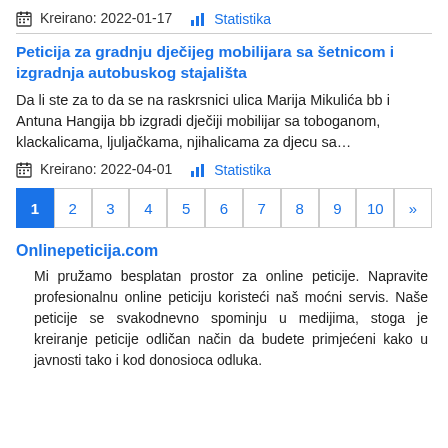Kreirano: 2022-01-17    Statistika
Peticija za gradnju dječijeg mobilijara sa šetnicom i izgradnja autobuskog stajališta
Da li ste za to da se na raskrsnici ulica Marija Mikulića bb i Antuna Hangija bb izgradi dječiji mobilijar sa toboganom, klackalicama, ljuljačkama, njihalicama za djecu sa...
Kreirano: 2022-04-01    Statistika
1 2 3 4 5 6 7 8 9 10 »
Onlinepeticija.com
Mi pružamo besplatan prostor za online peticije. Napravite profesionalnu online peticiju koristeći naš moćni servis. Naše peticije se svakodnevno spominju u medijima, stoga je kreiranje peticije odličan način da budete primjećeni kako u javnosti tako i kod donosioca odluka.